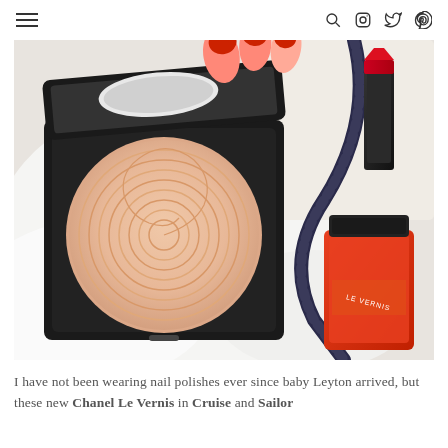≡  🔍 Instagram Twitter Pinterest
[Figure (photo): Flat lay photo showing an open Chanel compact with a spiral-patterned peach/nude powder, a Chanel Le Vernis nail polish bottle in orange/red, and a red lipstick tube with black cap, arranged on a white fluffy surface with a dark twisted rope cord, and red-painted fingernails visible at the top.]
I have not been wearing nail polishes ever since baby Leyton arrived, but these new Chanel Le Vernis in Cruise and Sailor